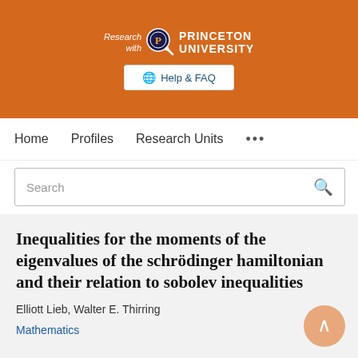[Figure (logo): Princeton University 'Research with' logo on orange background with Help & FAQ button]
Home   Profiles   Research Units   ...
Search
Inequalities for the moments of the eigenvalues of the schrödinger hamiltonian and their relation to sobolev inequalities
Elliott Lieb, Walter E. Thirring
Mathematics